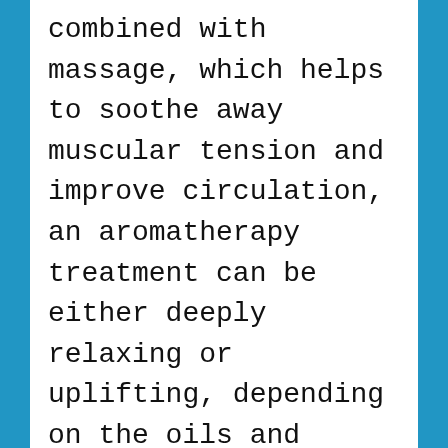combined with massage, which helps to soothe away muscular tension and improve circulation, an aromatherapy treatment can be either deeply relaxing or uplifting, depending on the oils and massage techniques used by the therapist. Aromatherapy is used by people for a variety of reasons. Some use it to help them manage or cope with specific physical, mental or emotional problems, while others use it as a means of relaxation, or to help maintain good health and a sense of general well-being. Aromatherapy massage and essential oils are